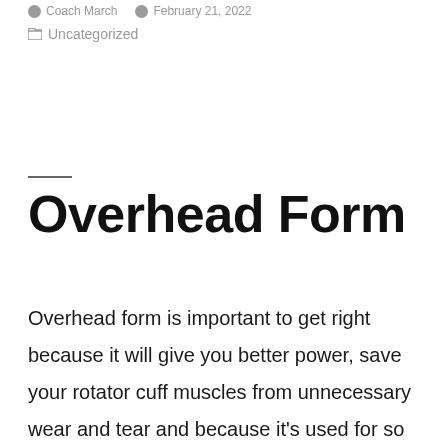Coach March  February 21, 2022
Uncategorized
Overhead Form
Overhead form is important to get right because it will give you better power, save your rotator cuff muscles from unnecessary wear and tear and because it’s used for so